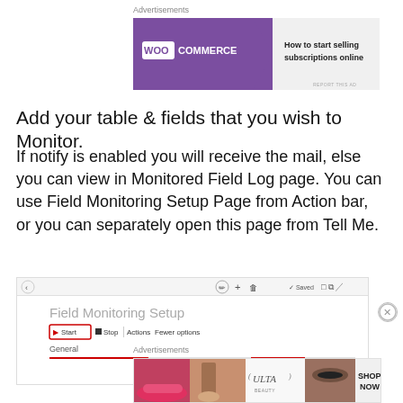[Figure (screenshot): WooCommerce advertisement banner: 'How to start selling subscriptions online']
Add your table & fields that you wish to Monitor.
If notify is enabled you will receive the mail, else you can view in Monitored Field Log page. You can use Field Monitoring Setup Page from Action bar, or you can separately open this page from Tell Me.
[Figure (screenshot): Screenshot of Field Monitoring Setup page with Start, Stop, Actions, Fewer options buttons and General section]
[Figure (screenshot): Ulta Beauty advertisement banner with SHOP NOW call to action]